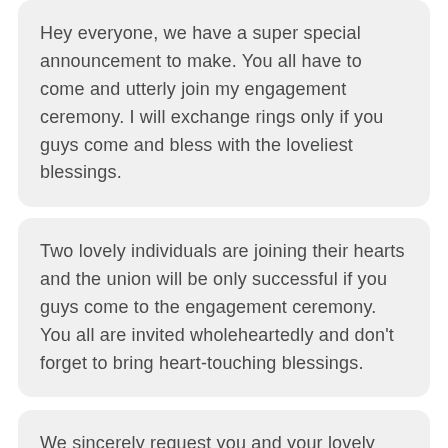Hey everyone, we have a super special announcement to make. You all have to come and utterly join my engagement ceremony. I will exchange rings only if you guys come and bless with the loveliest blessings.
Two lovely individuals are joining their hearts and the union will be only successful if you guys come to the engagement ceremony. You all are invited wholeheartedly and don't forget to bring heart-touching blessings.
We sincerely request you and your lovely